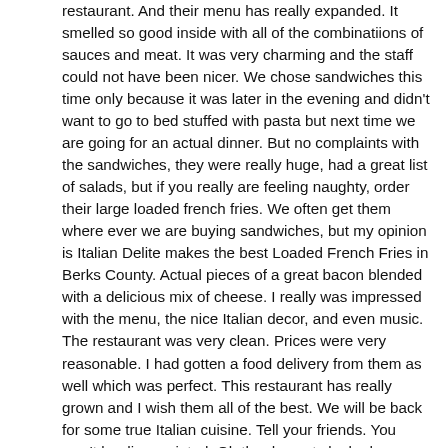restaurant. And their menu has really expanded. It smelled so good inside with all of the combinatiions of sauces and meat. It was very charming and the staff could not have been nicer. We chose sandwiches this time only because it was later in the evening and didn't want to go to bed stuffed with pasta but next time we are going for an actual dinner. But no complaints with the sandwiches, they were really huge, had a great list of salads, but if you really are feeling naughty, order their large loaded french fries. We often get them where ever we are buying sandwiches, but my opinion is Italian Delite makes the best Loaded French Fries in Berks County. Actual pieces of a great bacon blended with a delicious mix of cheese. I really was impressed with the menu, the nice Italian decor, and even music. The restaurant was very clean. Prices were very reasonable. I had gotten a food delivery from them as well which was perfect. This restaurant has really grown and I wish them all of the best. We will be back for some true Italian cuisine. Tell your friends. You won't be disappointed. Oh the desserts looked incredible as well. And my husband and I even took half of our sandwiches home we were so full. And they were just as good the next day for lunch. They also serve wine and beer if you want to enjoy it with your dinner. But come hungry. I rate them 5 STARS ⭐⭐⭐⭐⭐.